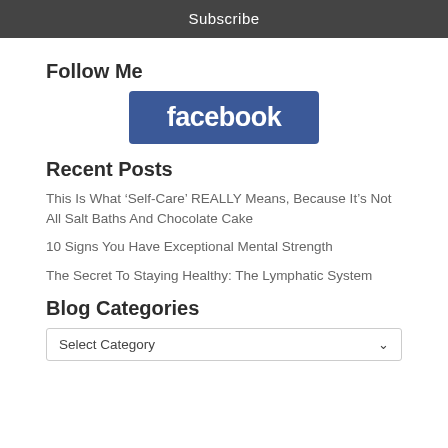Subscribe
Follow Me
[Figure (logo): Facebook logo — blue rectangle with white bold text 'facebook']
Recent Posts
This Is What ‘Self-Care’ REALLY Means, Because It’s Not All Salt Baths And Chocolate Cake
10 Signs You Have Exceptional Mental Strength
The Secret To Staying Healthy: The Lymphatic System
Blog Categories
Select Category